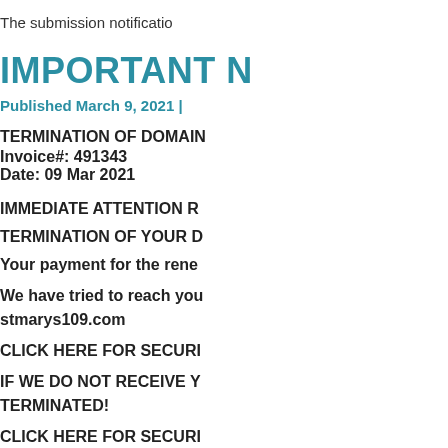The submission notificatio
IMPORTANT N
Published March 9, 2021 |
TERMINATION OF DOMAIN
Invoice#: 491343
Date: 09 Mar 2021
IMMEDIATE ATTENTION R
TERMINATION OF YOUR D
Your payment for the rene
We have tried to reach you
stmarys109.com
CLICK HERE FOR SECURI
IF WE DO NOT RECEIVE Y
TERMINATED!
CLICK HERE FOR SECURI
YOUR IMMEDIATE ATTENT
stmarys109.com
The submission notificati